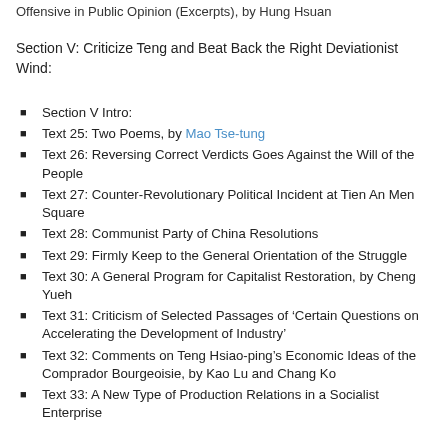Offensive in Public Opinion (Excerpts), by Hung Hsuan
Section V: Criticize Teng and Beat Back the Right Deviationist Wind:
Section V Intro:
Text 25: Two Poems, by Mao Tse-tung
Text 26: Reversing Correct Verdicts Goes Against the Will of the People
Text 27: Counter-Revolutionary Political Incident at Tien An Men Square
Text 28: Communist Party of China Resolutions
Text 29: Firmly Keep to the General Orientation of the Struggle
Text 30: A General Program for Capitalist Restoration, by Cheng Yueh
Text 31: Criticism of Selected Passages of ‘Certain Questions on Accelerating the Development of Industry’
Text 32: Comments on Teng Hsiao-ping’s Economic Ideas of the Comprador Bourgeoisie, by Kao Lu and Chang Ko
Text 33: A New Type of Production Relations in a Socialist Enterprise